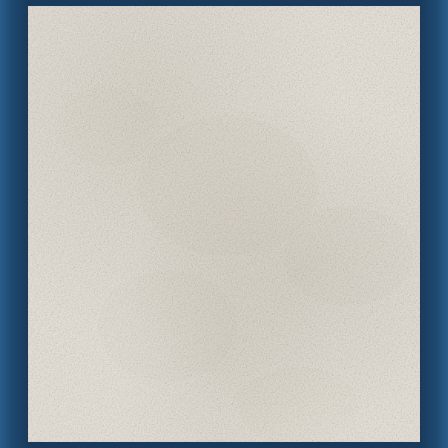[Figure (photo): A blank or nearly blank aged/textured paper page with a cream/off-white color and subtle grain texture. The page is surrounded on the left and right sides by a blue sky or blue background, suggesting this is a scanned document page photographed against an outdoor background.]